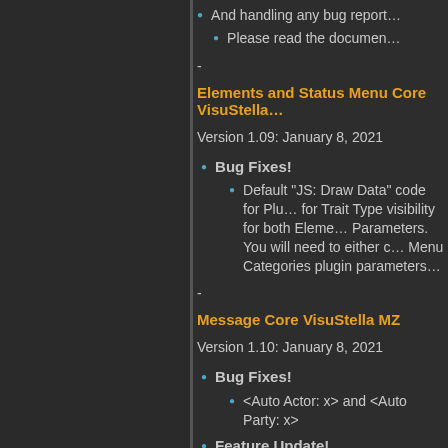And handling any bug report…
Please read the documen…
-
Elements and Status Menu Core VisuStella…
Version 1.09: January 8, 2021
Bug Fixes!
Default "JS: Draw Data" code for Plu… for Trait Type visibility for both Eleme… Parameters. You will need to either c… Menu Categories plugin parameters…
-
Message Core VisuStella MZ
Version 1.10: January 8, 2021
Bug Fixes!
<Auto Actor: x> and <Auto Party: x>
Feature Update!
Auto Color Plugin Parameters now…